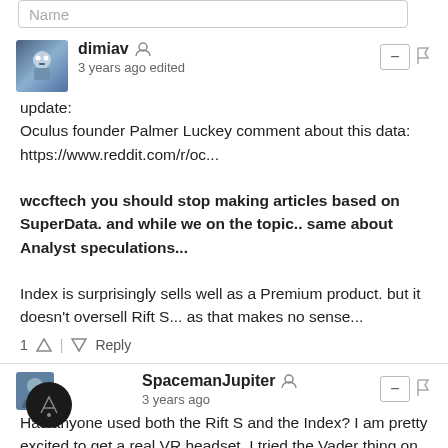Name
dimiav · 3 years ago edited
update:
Oculus founder Palmer Luckey comment about this data:
https://www.reddit.com/r/oc...

wccftech you should stop making articles based on SuperData. and while we on the topic.. same about Analyst speculations...

Index is surprisingly sells well as a Premium product. but it doesn't oversell Rift S... as that makes no sense...
1 · Reply
SpacemanJupiter · 3 years ago
Has anyone used both the Rift S and the Index? I am pretty excited to get a real VR headset. I tried the Vader thing on a mobile system and was pretty impressed with the depth and immersion but the resolution was so completely awful and